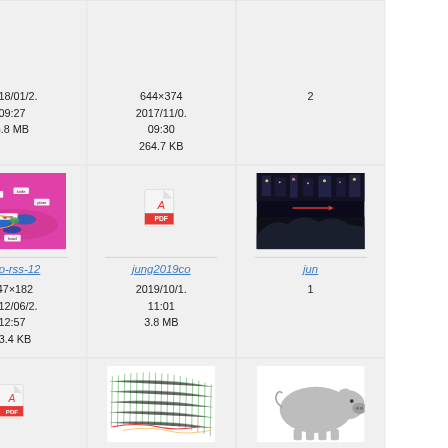[Figure (screenshot): File browser grid view showing image/PDF thumbnails with metadata (filenames, dimensions, dates, file sizes). Three columns visible, three rows visible (first row partial at top, second row with joho-rss-12 image, jung2019co PDF, and a night-scene image, third row with PDF icons and 3D mesh thumbnails).]
644×374
2017/11/0.
09:30
264.7 KB
2018/01/2.
09:27
6.8 MB
joho-rss-12
247×182
2012/06/2.
12:57
73.4 KB
jung2019co
2019/10/1.
11:01
3.8 MB
jun